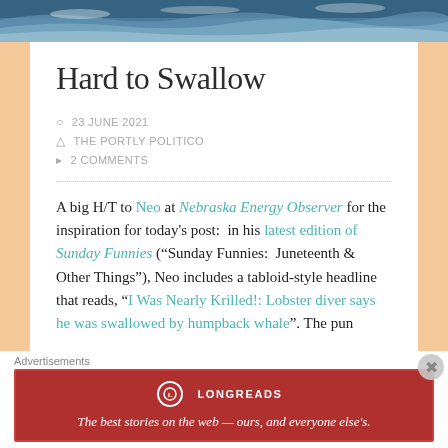[Figure (photo): Ocean/waves hero image at top of page]
Hard to Swallow
23 JUNE 2021 | THE PORTLY POLITICO | 2 COMMENTS
A big H/T to Neo at Nebraska Energy Observer for the inspiration for today's post:  in his latest edition of Sunday Funnies (“Sunday Funnies:  Juneteenth & Other Things”), Neo includes a tabloid-style headline that reads, “I Was Nearly Krilled!: Lobster diver says he was swallowed by humpback whale”. The pun
Advertisements
[Figure (other): Longreads advertisement banner: red background with logo and tagline 'The best stories on the web — ours, and everyone else’s.']